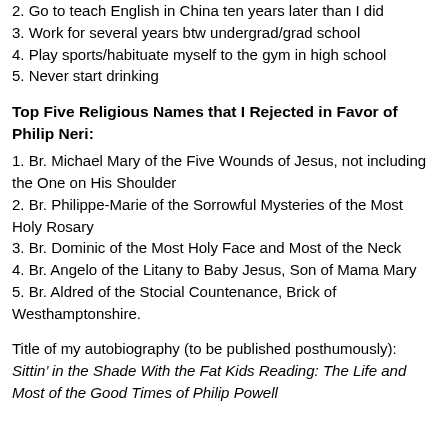2. Go to teach English in China ten years later than I did
3. Work for several years btw undergrad/grad school
4. Play sports/habituate myself to the gym in high school
5. Never start drinking
Top Five Religious Names that I Rejected in Favor of Philip Neri:
1. Br. Michael Mary of the Five Wounds of Jesus, not including the One on His Shoulder
2. Br. Philippe-Marie of the Sorrowful Mysteries of the Most Holy Rosary
3. Br. Dominic of the Most Holy Face and Most of the Neck
4. Br. Angelo of the Litany to Baby Jesus, Son of Mama Mary
5. Br. Aldred of the Stocial Countenance, Brick of Westhamptonshire.
Title of my autobiography (to be published posthumously): Sittin’ in the Shade With the Fat Kids Reading: The Life and Most of the Good Times of Philip Powell